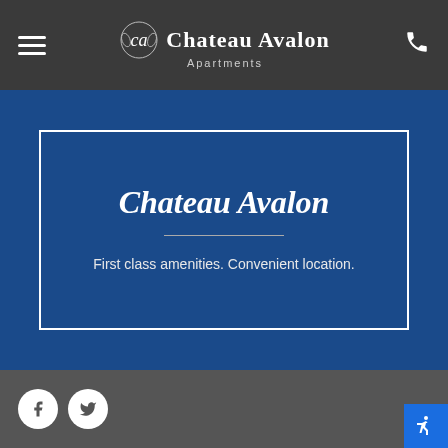Chateau Avalon Apartments
Chateau Avalon
First class amenities. Convenient location.
[Figure (other): Social media icons: Facebook and Twitter circular buttons]
[Figure (other): Accessibility button (wheelchair icon) in blue, bottom right corner]